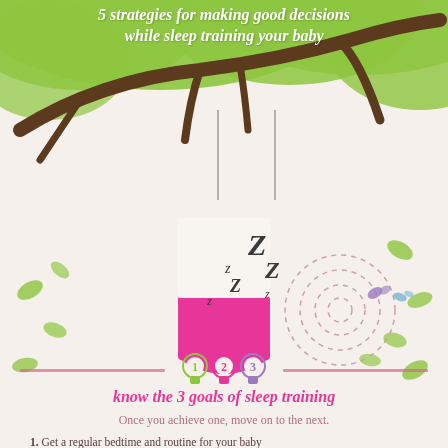5 strategies for making good decisions while sleep training your baby
[Figure (illustration): Decorative illustration of green tree branches with leaves at top, a pink baby cradle/swing hanging from a branch with Z letters floating above it indicating sleep, a spiral dashed circle on the right with two small butterflies, and scattered green leaves throughout the background]
[Figure (infographic): Three medal/ribbon icons numbered 1, 2, 3 with pink horizontal lines on each side]
know the 3 goals of sleep training
Once you achieve one, move on to the next.
1. Get a regular bedtime and routine for your baby